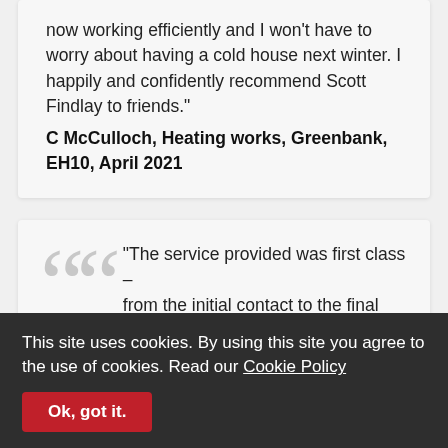now working efficiently and I won't have to worry about having a cold house next winter. I happily and confidently recommend Scott Findlay to friends."
C McCulloch, Heating works, Greenbank, EH10, April 2021
"The service provided was first class – from the initial contact to the final product. The response I got after sending an email enquiry was very prompt and everything from then was very efficient and organised. Johnny and Mark were meticulous in
This site uses cookies. By using this site you agree to the use of cookies. Read our Cookie Policy
Ok, got it.